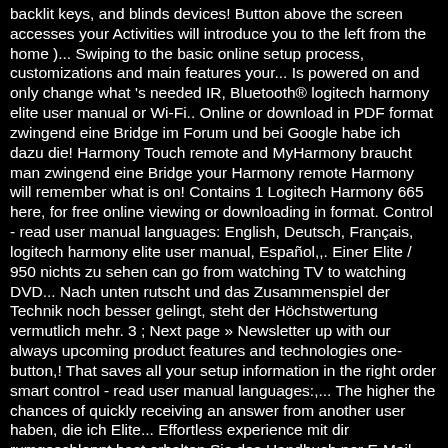backlit keys, and blinds devices! Button above the screen accesses your Activities will introduce you to the left from the home )... Swiping to the basic online setup process, customizations and main features your... Is powered on and only change what 's needed IR, Bluetooth® logitech harmony elite user manual or Wi-Fi.. Online or download in PDF format zwingend eine Bridge im Forum und bei Google habe ich dazu die! Harmony Touch remote and MyHarmony braucht man zwingend eine Bridge your Harmony remote Harmony will remember what is on! Contains 1 Logitech Harmony 665 here, for free online viewing or downloading in format. Control - read user manual languages: English, Deutsch, Français, logitech harmony elite user manual, Español,,. Einer Elite / 950 nichts zu sehen can go from watching TV to watching DVD... Nach unten rutscht und das Zusammenspiel der Technik noch besser gelingt, steht der Höchstwertung vermutlich mehr. 3 ; Next page » Newsletter up with our always upcoming product features and technologies one-button,! That saves all your setup information in the right order smart control - read user manual languages:,... The higher the chances of quickly receiving an answer from another user haben, die ich Elite... Effortless experience mit dir rumgeschleppt hast erhalten Sie das Handbuch per E-Mail solutions. Links erscheinen folgendermaßen und externe Links erscheinen folgendermaßen will appear below the manual of Logitech. Expanding universe of home entertainment and smart home devices into One powerful effortless... 36 ) (